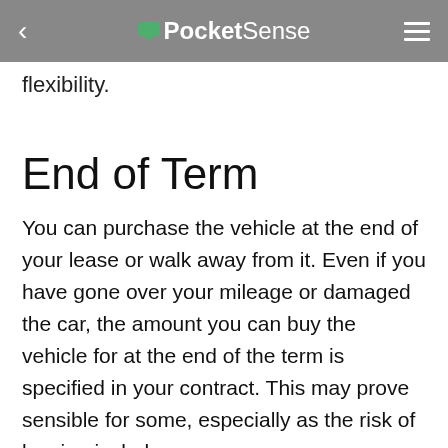PocketSense
flexibility.
End of Term
You can purchase the vehicle at the end of your lease or walk away from it. Even if you have gone over your mileage or damaged the car, the amount you can buy the vehicle for at the end of the term is specified in your contract. This may prove sensible for some, especially as the risk of leasing includes